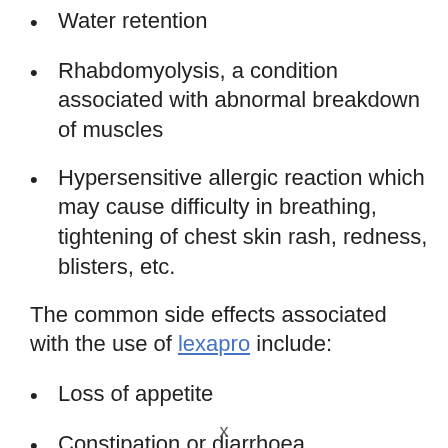Water retention
Rhabdomyolysis, a condition associated with abnormal breakdown of muscles
Hypersensitive allergic reaction which may cause difficulty in breathing, tightening of chest skin rash, redness, blisters, etc.
The common side effects associated with the use of lexapro include:
Loss of appetite
Constipation or diarrhoea
x